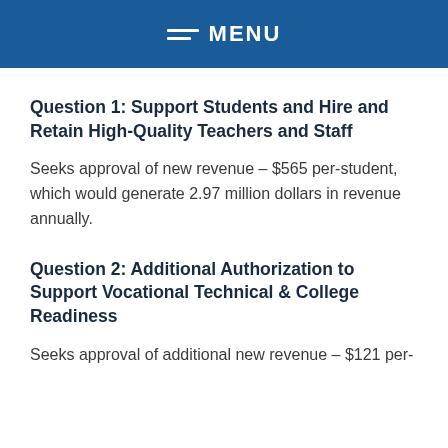MENU
Question 1: Support Students and Hire and Retain High-Quality Teachers and Staff
Seeks approval of new revenue – $565 per-student, which would generate 2.97 million dollars in revenue annually.
Question 2: Additional Authorization to Support Vocational Technical & College Readiness
Seeks approval of additional new revenue – $121 per-